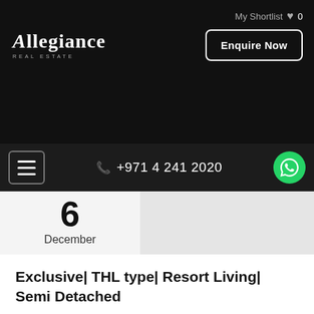My Shortlist ♥ 0
[Figure (logo): Allegiance Real Estate logo in white on dark background]
Enquire Now
+971 4 241 2020
6
December
Exclusive| THL type| Resort Living| Semi Detached
Location - Located in the Ready Golf community at Damac Hills, off Al Qudra Road - 15 min drive to MOE, key business hubs, entertainment destination 3 Bedroom plus maid Villa Rented Type THL (Semi...